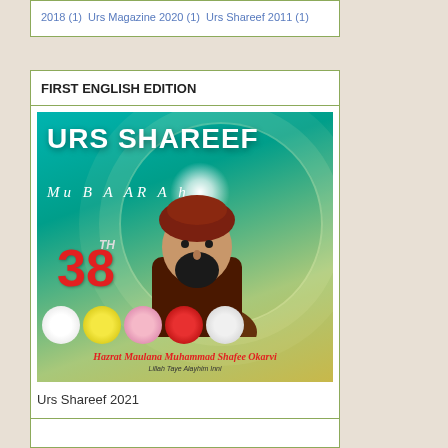2018 (1) Urs Magazine 2020 (1) Urs Shareef 2011 (1)
FIRST ENGLISH EDITION
[Figure (illustration): Book cover of Urs Shareef Mubarak magazine, 38th edition, featuring a portrait of Hazrat Maulana Muhammad Shafee Okarvi against a teal/green background with roses and decorative elements]
Urs Shareef 2021